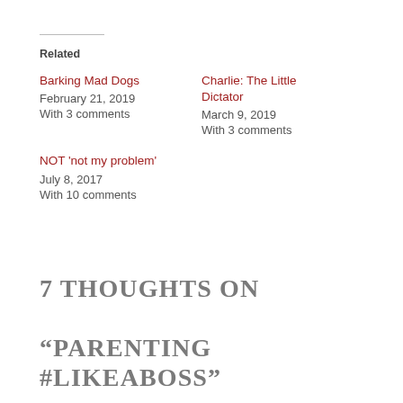Related
Barking Mad Dogs
February 21, 2019
With 3 comments
Charlie: The Little Dictator
March 9, 2019
With 3 comments
NOT 'not my problem'
July 8, 2017
With 10 comments
7 THOUGHTS ON "PARENTING #LIKEABOSS"